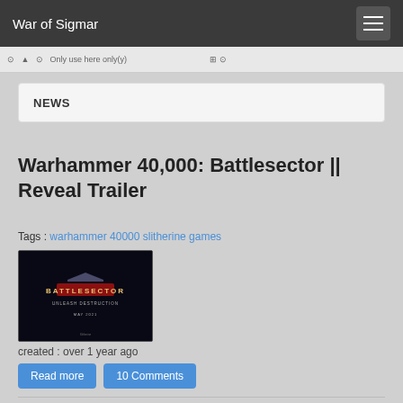War of Sigmar
NEWS
Warhammer 40,000: Battlesector || Reveal Trailer
Tags : warhammer 40000 slitherine games
[Figure (screenshot): Thumbnail image showing Battlesector game title screen with text BATTLESECTOR UNLEASH DESTRUCTION MAY 2021 on dark background]
created : over 1 year ago
Read more  10 Comments